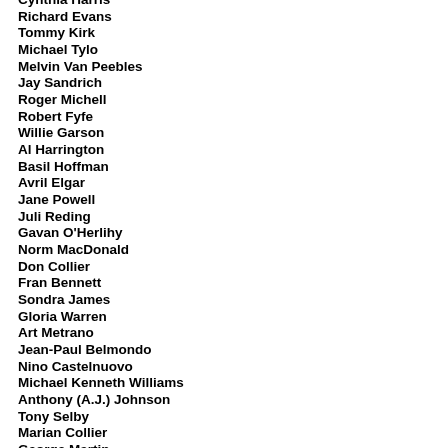Cynthia Harris
Richard Evans
Tommy Kirk
Michael Tylo
Melvin Van Peebles
Jay Sandrich
Roger Michell
Robert Fyfe
Willie Garson
Al Harrington
Basil Hoffman
Avril Elgar
Jane Powell
Juli Reding
Gavan O'Herlihy
Norm MacDonald
Don Collier
Fran Bennett
Sondra James
Gloria Warren
Art Metrano
Jean-Paul Belmondo
Nino Castelnuovo
Michael Kenneth Williams
Anthony (A.J.) Johnson
Tony Selby
Marian Collier
George Martin
Michael Constantine
Ed Asner
Mike/Michael Nader
Sonny Chiba
Una Stubbs
Don Jones